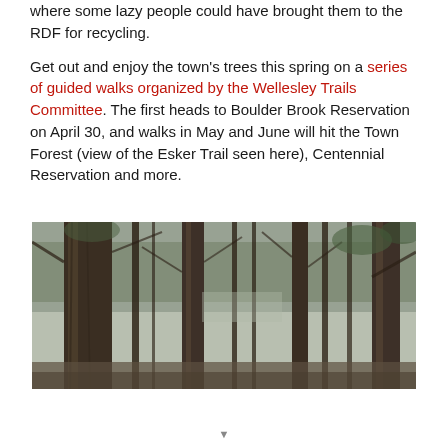where some lazy people could have brought them to the RDF for recycling.

Get out and enjoy the town's trees this spring on a series of guided walks organized by the Wellesley Trails Committee. The first heads to Boulder Brook Reservation on April 30, and walks in May and June will hit the Town Forest (view of the Esker Trail seen here), Centennial Reservation and more.
[Figure (photo): Photo of the Esker Trail in the Town Forest — tall pine and deciduous trees with bare winter branches against a pale grey sky, viewed from ground level looking upward through the tree trunks.]
▼